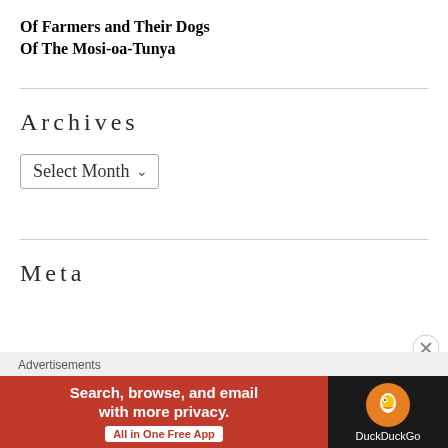Of Farmers and Their Dogs
Of The Mosi-oa-Tunya
Archives
Select Month
Meta
[Figure (other): DuckDuckGo advertisement banner: 'Search, browse, and email with more privacy. All in One Free App' with DuckDuckGo logo on dark background.]